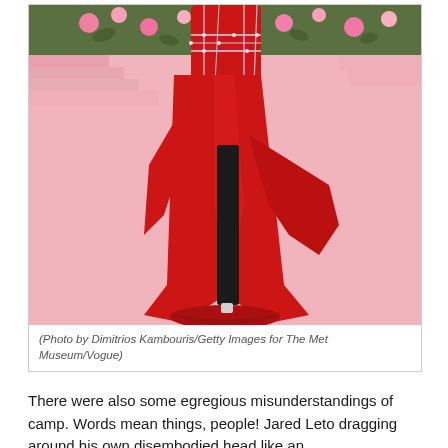[Figure (photo): A person wearing an elaborate red gown with crystal/rhinestone embellishments and a long train, standing on a pink carpet at what appears to be the Met Gala. The background shows pink steps and a floral wall.]
(Photo by Dimitrios Kambouris/Getty Images for The Met Museum/Vogue)
There were also some egregious misunderstandings of camp. Words mean things, people! Jared Leto dragging around his own disembodied head like an